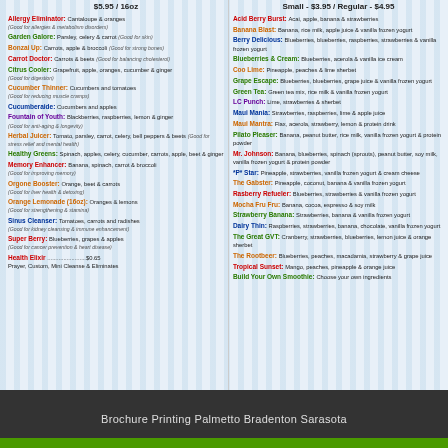$5.95 / 16oz
Small - $3.95 / Regular - $4.95
Allergy Eliminator: Cantaloupe & oranges (Good for allergies & metabolism disorders)
Garden Galore: Parsley, celery & carrot (Good for skin)
Bonzai Up: Carrots, apple & broccoli (Good for strong bones)
Carrot Doctor: Carrots & beets (Good for balancing cholesterol)
Citrus Cooler: Grapefruit, apple, oranges, cucumber & ginger (Good for digestion)
Cucumber Thinner: Cucumbers and tomatoes (Good for reducing muscle cramps)
Cucumberaide: Cucumbers and apples
Fountain of Youth: Blackberries, raspberries, lemon & ginger (Good for anti-aging & longevity)
Herbal Juicer: Tomato, parsley, carrot, celery, bell peppers & beets (Good for stress relief and mental health)
Healthy Greens: Spinach, apples, celery, cucumber, carrots, apple, beet & ginger
Memory Enhancer: Banana, spinach, carrot & broccoli (Good for improving memory)
Orgone Booster: Orange, beet & carrots (Good for liver health & detoxing)
Orange Lemonade (16oz): Oranges & lemons (Good for strengthening & stamina)
Sinus Cleanser: Tomatoes, carrots and radishes (Good for kidney cleansing & immune enhancement)
Super Berry: Blueberries, grapes & apples (Good for cancer prevention & heart disease)
Health Elixir $0.65 ... Prayer, Custom, Mini Cleanse & Eliminates
Acid Berry Burst: Acai, apple, banana & strawberries
Banana Blast: Banana, rice milk, apple juice & vanilla frozen yogurt
Berry Delicious: Blueberries, blueberries, raspberries, strawberries & vanilla frozen yogurt
Blueberries & Cream: Blueberries, acerola & vanilla ice cream
Coo Lime: Pineapple, peaches & lime sherbet
Grape Escape: Blueberries, blueberries, grape juice & vanilla frozen yogurt
Green Tea: Green tea mix, rice milk & vanilla frozen yogurt
LC Punch: Lime, strawberries & sherbet
Maui Mania: Strawberries, raspberries, lime & apple juice
Maui Mantra: Flax, acerola, strawberry, lemon & protein drink
Pilato Pleaser: Banana, peanut butter, rice milk, vanilla frozen yogurt & protein powder
Mr. Johnson: Banana, blueberries, spinach (sprouts), peanut butter, soy milk, vanilla frozen yogurt & protein powder
*P* Star: Pineapple, strawberries, vanilla frozen yogurt & cream cheese
The Gabster: Pineapple, coconut, banana & vanilla frozen yogurt
Rasberry Refueler: Blueberries, strawberries & vanilla frozen yogurt
Mocha Fru Fru: Banana, cocoa, espresso & soy milk
Strawberry Banana: Strawberries, banana & vanilla frozen yogurt
Dairy Thin: Raspberries, strawberries, banana, chocolate, vanilla frozen yogurt
The Great GVT: Cranberry, strawberries, blueberries, lemon juice & orange sherbet
The Rootbeer: Blueberries, peaches, macadamia, strawberry & grape juice
Tropical Sunset: Mango, peaches, pineapple & orange juice
Build Your Own Smoothie: Choose your own ingredients
Brochure Printing Palmetto Bradenton Sarasota